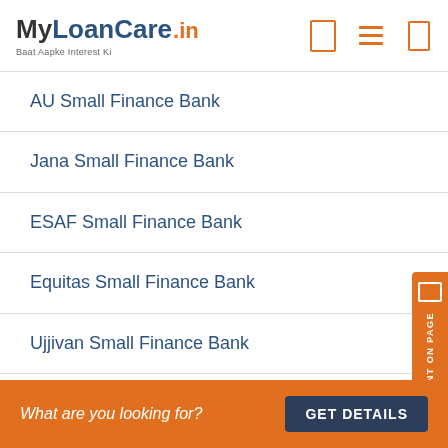MyLoanCare.in – Baat Aapke Interest Ki
AU Small Finance Bank
Jana Small Finance Bank
ESAF Small Finance Bank
Equitas Small Finance Bank
Ujjivan Small Finance Bank
AU Small Finance Bank FD Interest Rate
Jana Small Finance Bank FD Interest Rate
What are you looking for? GET DETAILS